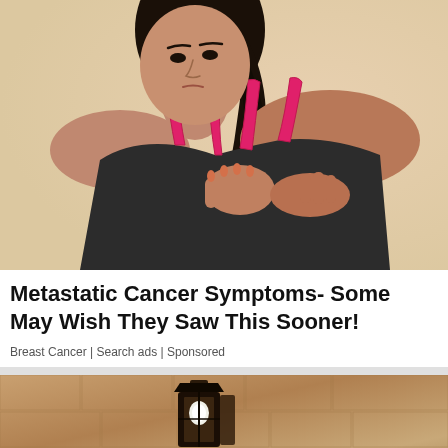[Figure (photo): Young woman in dark tank top with pink sports bra straps, holding her chest/breast area with both hands, appearing to be in pain or discomfort, against a beige/cream background]
Metastatic Cancer Symptoms- Some May Wish They Saw This Sooner!
Breast Cancer | Search ads | Sponsored
[Figure (photo): An outdoor wall-mounted lantern light fixture against a textured stone/stucco wall in warm beige tones]